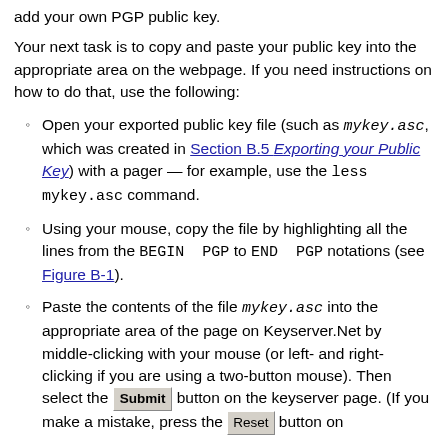add your own PGP public key.
Your next task is to copy and paste your public key into the appropriate area on the webpage. If you need instructions on how to do that, use the following:
Open your exported public key file (such as mykey.asc, which was created in Section B.5 Exporting your Public Key) with a pager — for example, use the less mykey.asc command.
Using your mouse, copy the file by highlighting all the lines from the BEGIN PGP to END PGP notations (see Figure B-1).
Paste the contents of the file mykey.asc into the appropriate area of the page on Keyserver.Net by middle-clicking with your mouse (or left- and right-clicking if you are using a two-button mouse). Then select the Submit button on the keyserver page. (If you make a mistake, press the Reset button on